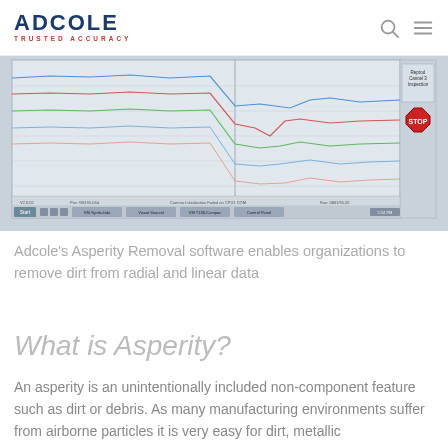ADCOLE TRUSTED ACCURACY
[Figure (screenshot): Screenshot of Adcole measurement software showing multi-channel waveform data with colored trace lines (blue, red, green) plotted on a grid. A red STOP sign icon is visible in the upper right panel area with text 'Inspect Cancel 3 Inspection'. The bottom of the screenshot shows a Windows taskbar with various application buttons.]
Adcole's Asperity Removal software enables organizations to remove dirt from radial and linear data
What is Asperity?
An asperity is an unintentionally included non-component feature such as dirt or debris. As many manufacturing environments suffer from airborne particles it is very easy for dirt, metallic